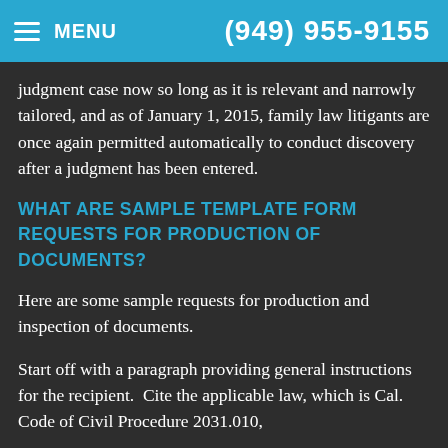MENU  (949) 955-9155
judgment case now so long as it is relevant and narrowly tailored, and as of January 1, 2015, family law litigants are once again permitted automatically to conduct discovery after a judgment has been entered.
WHAT ARE SAMPLE TEMPLATE FORM REQUESTS FOR PRODUCTION OF DOCUMENTS?
Here are some sample requests for production and inspection of documents.
Start off with a paragraph providing general instructions for the recipient.  Cite the applicable law, which is Cal. Code of Civil Procedure 2031.010,